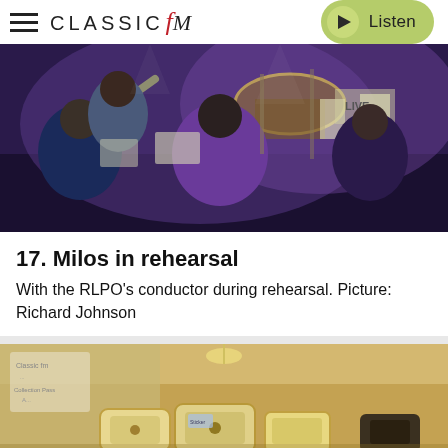CLASSIC FM — Listen
[Figure (photo): Orchestra musicians in rehearsal, seen from behind, with purple/blue stage lighting and music stands visible. A conductor or musician with raised arm is visible on the left.]
17. Milos in rehearsal
With the RLPO's conductor during rehearsal. Picture: Richard Johnson
[Figure (photo): Room with luggage or instrument cases on the floor under warm yellow lighting, possibly a backstage or dressing room area. A Classic FM logo/sign is partially visible on the left.]